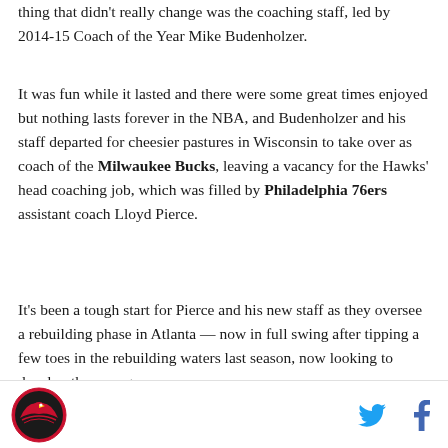thing that didn't really change was the coaching staff, led by 2014-15 Coach of the Year Mike Budenholzer.
It was fun while it lasted and there were some great times enjoyed but nothing lasts forever in the NBA, and Budenholzer and his staff departed for cheesier pastures in Wisconsin to take over as coach of the Milwaukee Bucks, leaving a vacancy for the Hawks' head coaching job, which was filled by Philadelphia 76ers assistant coach Lloyd Pierce.
It's been a tough start for Pierce and his new staff as they oversee a rebuilding phase in Atlanta — now in full swing after tipping a few toes in the rebuilding waters last season, now looking to develop the young
Logo and social icons